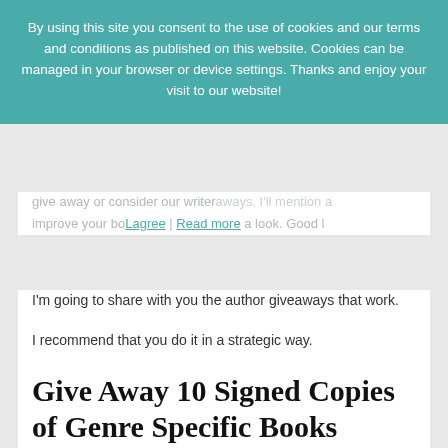By using this site you consent to the use of cookies and our terms and conditions as published on this website. Cookies can be managed in your browser or device settings. Thanks and enjoy your visit to our website!
I'm going to share with you the author giveaways that work.
I recommend that you do it in a strategic way.
Give Away 10 Signed Copies of Genre Specific Books
I love this giveaway idea and think it is something any author, both new and experienced, can benefit from.